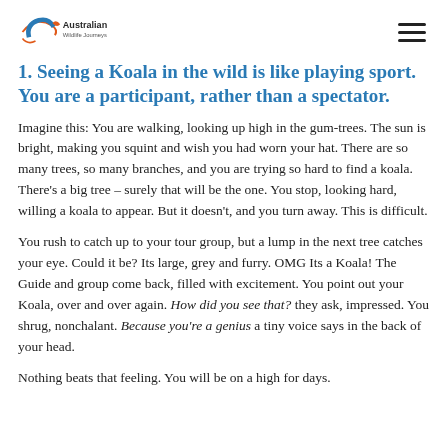Australian Wildlife Journeys
1. Seeing a Koala in the wild is like playing sport. You are a participant, rather than a spectator.
Imagine this: You are walking, looking up high in the gum-trees. The sun is bright, making you squint and wish you had worn your hat. There are so many trees, so many branches, and you are trying so hard to find a koala. There’s a big tree – surely that will be the one. You stop, looking hard, willing a koala to appear. But it doesn’t, and you turn away. This is difficult.
You rush to catch up to your tour group, but a lump in the next tree catches your eye. Could it be? Its large, grey and furry. OMG Its a Koala! The Guide and group come back, filled with excitement. You point out your Koala, over and over again. How did you see that? they ask, impressed. You shrug, nonchalant. Because you’re a genius a tiny voice says in the back of your head.
Nothing beats that feeling. You will be on a high for days.